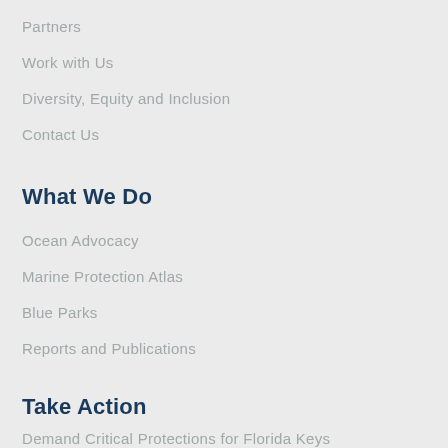Partners
Work with Us
Diversity, Equity and Inclusion
Contact Us
What We Do
Ocean Advocacy
Marine Protection Atlas
Blue Parks
Reports and Publications
Take Action
Demand Critical Protections for Florida Keys